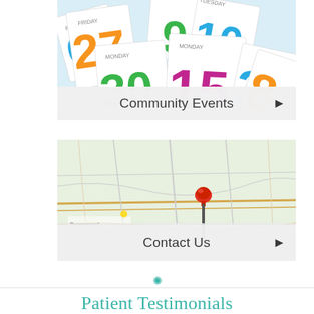[Figure (photo): Calendar pages with colorful numbers scattered, showing days of the week (Friday, Monday, Tuesday, Wednesday, Thursday) and various dates (27, 30, 15, 9, 10, 8, 3) in green, blue, orange, pink colors. Used as background for Community Events button.]
Community Events ▶
[Figure (photo): A road map with a red pushpin/thumbtack stuck into it, showing road network near Brownwood area. Used as background for Contact Us button.]
Contact Us ▶
[Figure (other): Small teal decorative snowflake/asterisk icon above a horizontal divider line]
Patient Testimonials